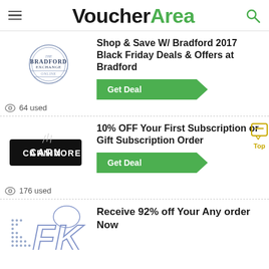VoucherArea
Shop & Save W/ Bradford 2017 Black Friday Deals & Offers at Bradford
Get Deal
64 used
10% OFF Your First Subscription or Gift Subscription Order
Get Deal
176 used
Receive 92% off Your Any order Now